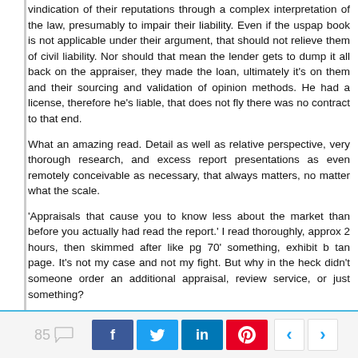vindication of their reputations through a complex interpretation of the law, presumably to impair their liability. Even if the uspap book is not applicable under their argument, that should not relieve them of civil liability. Nor should that mean the lender gets to dump it all back on the appraiser, they made the loan, ultimately it's on them and their sourcing and validation of opinion methods. He had a license, therefore he's liable, that does not fly there was no contract to that end.
What an amazing read. Detail as well as relative perspective, very thorough research, and excess report presentations as even remotely conceivable as necessary, that always matters, no matter what the scale.
'Appraisals that cause you to know less about the market than before you actually had read the report.' I read thoroughly, approx 2 hours, then skimmed after like pg 70' something, exhibit b tan page. It's not my case and not my fight. But why in the heck didn't someone order an additional appraisal, review service, or just something?
When I wrote my demins letter recently I mentioned; How are appraisers supposed to become equipped for high end important tasks if the majority of their duties and responsibilities for lower cost work are put in the hands of non appraisers? How does an appraiser become qualified for high end, if they don't get a whole lot of low end work to forge the way and train the mind and method? If there would have been comprehensive detail about every
85  f  t  in  p  ‹  ›